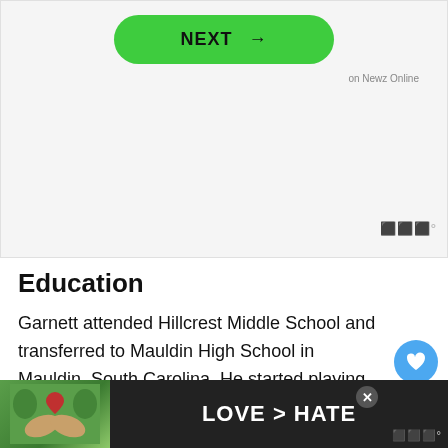[Figure (screenshot): Green NEXT button with right arrow on gray background, with 'on Newz Online' text label]
Education
Garnett attended Hillcrest Middle School and transferred to Mauldin High School in Mauldin, South Carolina. He started playing basketball in his high school...
[Figure (infographic): Bottom advertisement banner with 'LOVE > HATE' text on dark background with heart-hands photo]